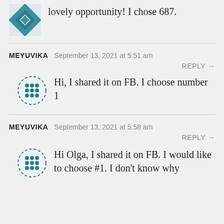Shared on FB. Thank you for this lovely opportunity! I chose 687.
MEYUVIKA  September 13, 2021 at 5:51 am
REPLY →
Hi, I shared it on FB. I choose number 1
MEYUVIKA  September 13, 2021 at 5:58 am
REPLY →
Hi Olga, I shared it on FB. I would like to choose #1. I don't know why